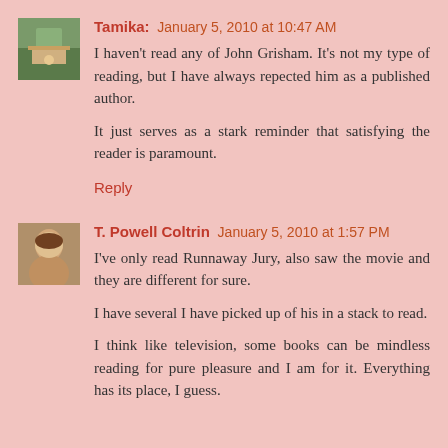[Figure (photo): Avatar photo of Tamika — outdoor scene with trees]
Tamika: January 5, 2010 at 10:47 AM
I haven't read any of John Grisham. It's not my type of reading, but I have always repected him as a published author.

It just serves as a stark reminder that satisfying the reader is paramount.
Reply
[Figure (photo): Avatar photo of T. Powell Coltrin — portrait of woman with glasses]
T. Powell Coltrin January 5, 2010 at 1:57 PM
I've only read Runnaway Jury, also saw the movie and they are different for sure.

I have several I have picked up of his in a stack to read.

I think like television, some books can be mindless reading for pure pleasure and I am for it. Everything has its place, I guess.